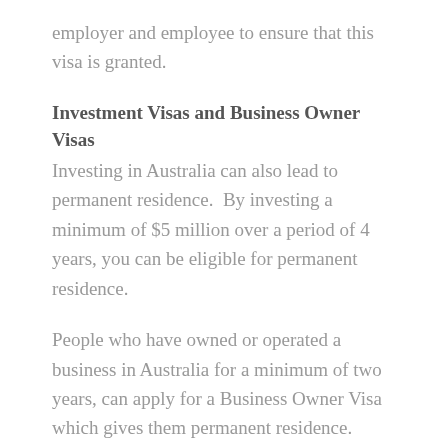employer and employee to ensure that this visa is granted.
Investment Visas and Business Owner Visas
Investing in Australia can also lead to permanent residence.  By investing a minimum of $5 million over a period of 4 years, you can be eligible for permanent residence.
People who have owned or operated a business in Australia for a minimum of two years, can apply for a Business Owner Visa which gives them permanent residence.